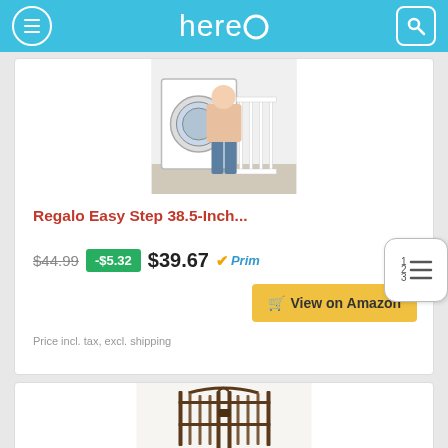hereO
[Figure (photo): White baby/pet safety gate with a person standing next to a washing machine]
Regalo Easy Step 38.5-Inch...
$44.99  -$5.32  $39.67  Prime
View on Amazon
Price incl. tax, excl. shipping
[Figure (photo): Bronze/dark metal decorative baby gate with arched top design]